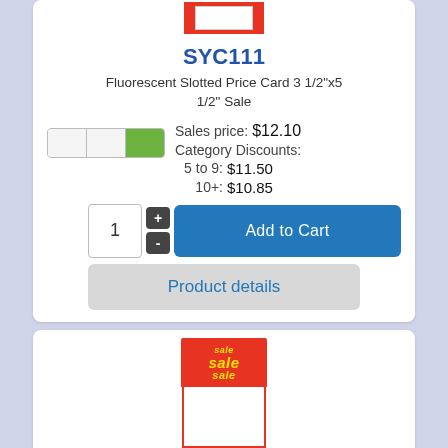[Figure (photo): Red price card holder with white inner card visible at top]
SYC111
Fluorescent Slotted Price Card 3 1/2"x5 1/2" Sale
Sales price: $12.10
Category Discounts:
5 to 9: $11.50
10+: $10.85
[Figure (screenshot): Add to Cart button with quantity selector (1) plus/minus buttons and Add to Cart blue button]
Product details
[Figure (photo): Sale price card with red background saying sale sale sale and white area below for price]